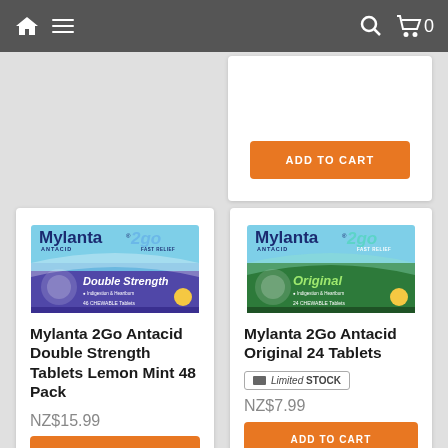Navigation bar with home icon, menu icon, search icon, cart icon (0 items)
[Figure (screenshot): Partial product card top area with ADD TO CART orange button visible]
[Figure (photo): Mylanta 2Go Antacid Double Strength Tablets Lemon Mint 48 Pack product box - blue/purple packaging]
Mylanta 2Go Antacid Double Strength Tablets Lemon Mint 48 Pack
NZ$15.99
ADD TO CART
[Figure (photo): Mylanta 2Go Antacid Original 24 Tablets product box - teal/green packaging]
Mylanta 2Go Antacid Original 24 Tablets
Limited STOCK
NZ$7.99
ADD TO CART